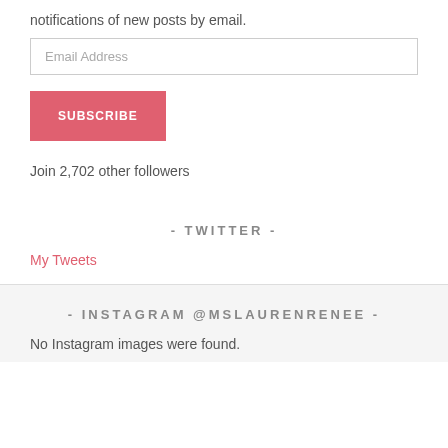notifications of new posts by email.
Email Address
SUBSCRIBE
Join 2,702 other followers
- TWITTER -
My Tweets
- INSTAGRAM @MSLAURENRENEE -
No Instagram images were found.